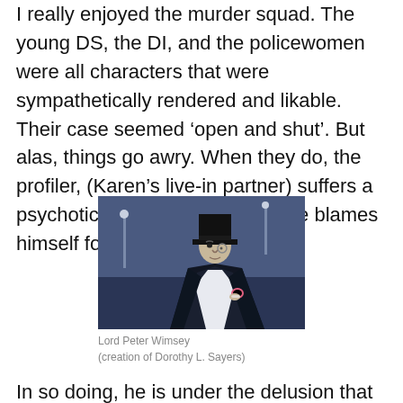I really enjoyed the murder squad.  The young DS, the DI, and the policewomen were all characters that were sympathetically rendered and likable.  Their case seemed 'open and shut'.  But alas, things go awry.  When they do, the profiler, (Karen's live-in partner) suffers a psychotic breakdown because he blames himself for the 'cock-up'.
[Figure (illustration): Animated illustration of Lord Peter Wimsey — a stylized figure in a top hat and formal wear, rendered in dark blue and white tones, holding a small pink object, set against a moody blue-grey urban background.]
Lord Peter Wimsey
(creation of Dorothy L. Sayers)
In so doing, he is under the delusion that he IS the famous